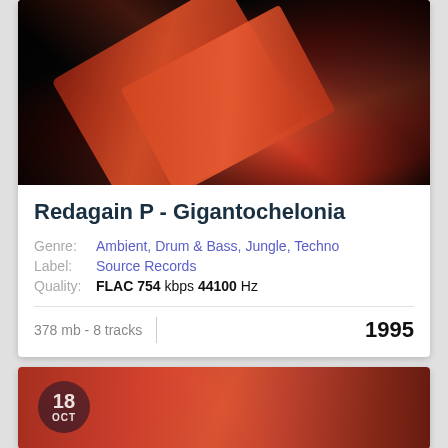[Figure (photo): Album cover photo with dark background and red-lit guitar or instrument element at an angle]
Redagain P - Gigantochelonia
Genre: Ambient, Drum & Bass, Jungle, Techno
Label: Source Records
Quality: FLAC 754 kbps 44100 Hz
378 mb - 8 tracks
1995
[Figure (photo): Partial album cover image with date badge showing 18 OCT, red-toned photo]
18 OCT